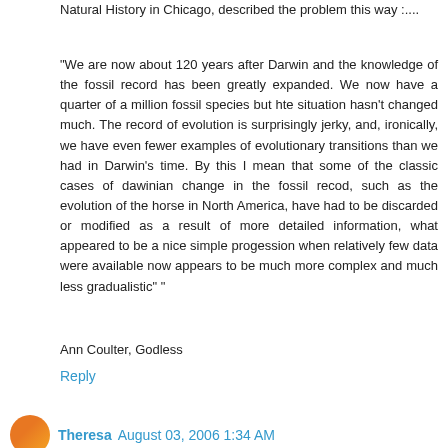Natural History in Chicago, described the problem this way :....
"We are now about 120 years after Darwin and the knowledge of the fossil record has been greatly expanded. We now have a quarter of a million fossil species but hte situation hasn't changed much. The record of evolution is surprisingly jerky, and, ironically, we have even fewer examples of evolutionary transitions than we had in Darwin's time. By this I mean that some of the classic cases of dawinian change in the fossil recod, such as the evolution of the horse in North America, have had to be discarded or modified as a result of more detailed information, what appeared to be a nice simple progession when relatively few data were available now appears to be much more complex and much less gradualistic" "
Ann Coulter, Godless
Reply
Theresa August 03, 2006 1:34 AM